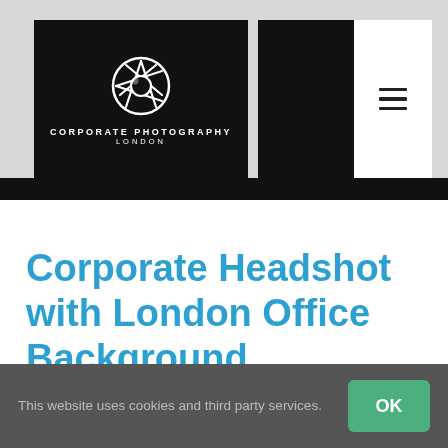[Figure (logo): Corporate Photography London logo with camera aperture icon on black background header]
Corporate Headshot with London Office Background
We posted before about adding different
This website uses cookies and third party services.